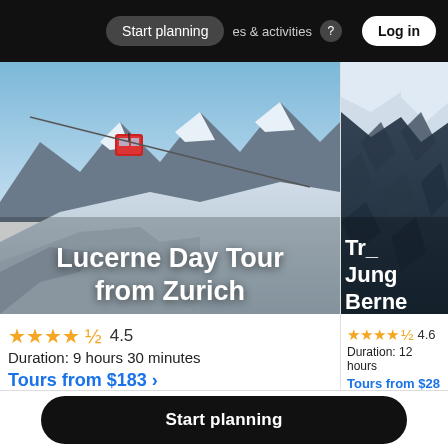Start planning | tours, experiences & activities | Log in
[Figure (photo): Snowy Alpine mountain landscape with a red cable car gondola, blue sky. Tour card for Lucerne Day Tour from Zurich.]
Lucerne Day Tour from Zurich
★★★★½ 4.5
Duration: 9 hours 30 minutes
Tours from $183 ›
[Figure (photo): Snowy dark rocky mountain face, partially cropped. Tour card for Jungfrau from Berne (partially visible).]
Jungfrau Berne (partial)
★★★★½ 4.6
Duration: 12 hours
Tours from $28
Start planning